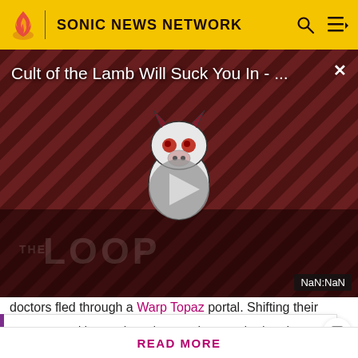SONIC NEWS NETWORK
[Figure (screenshot): Video thumbnail for 'Cult of the Lamb Will Suck You In - ...' with a play button overlay, striped dark red background, a cartoon character, and 'THE LOOP' watermark text. Timer shows NaN:NaN.]
doctors fled through a Warp Topaz portal. Shifting their
Know something we don't about Sonic? Don't hesitate in signing up today! It's fast, free, and easy, and you will get a
READ MORE